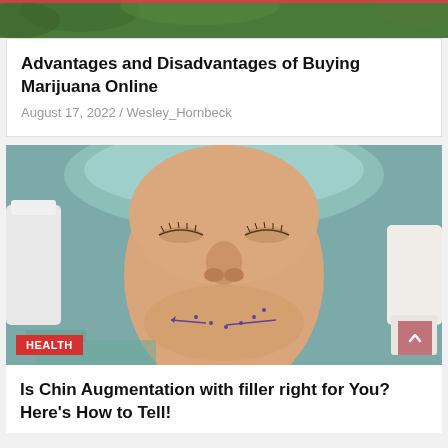[Figure (photo): Cropped top portion of a marijuana/cannabis plant image, green leaves visible]
Advantages and Disadvantages of Buying Marijuana Online
August 17, 2022 / Wesley_Hornbeck
[Figure (photo): Close-up of a woman lying down with eyes closed, wearing a surgical cap. A medical professional's gloved hands are visible. The woman's chin/jaw area has surgical markings drawn on it with purple lines and dots, indicating pre-operative chin augmentation planning. A HEALTH badge is shown in the bottom left corner.]
Is Chin Augmentation with filler right for You? Here's How to Tell!